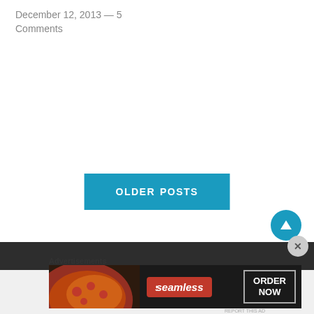December 12, 2013 — 5 Comments
OLDER POSTS
[Figure (screenshot): Dark footer bar with light gray section below]
[Figure (other): Teal circular up-arrow scroll-to-top button]
[Figure (other): Gray circular close/dismiss button with X]
Advertisements
[Figure (other): Seamless food delivery advertisement banner with pizza image, seamless logo, and ORDER NOW button]